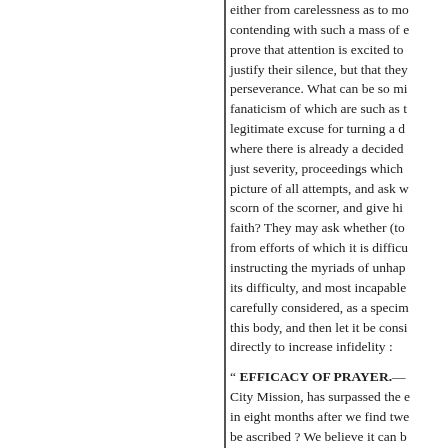either from carelessness as to mo contending with such a mass of prove that attention is excited to justify their silence, but that they perseverance. What can be so mi fanaticism of which are such as t legitimate excuse for turning a d where there is already a decided just severity, proceedings which picture of all attempts, and ask w scorn of the scorner, and give hi faith? They may ask whether (to from efforts of which it is difficu instructing the myriads of unhap its difficulty, and most incapable carefully considered, as a specim this body, and then let it be cons directly to increase infidelity :
" EFFICACY OF PRAYER.— City Mission, has surpassed the in eight months after we find tw be ascribed ? We believe it can b first stone of this mission was la